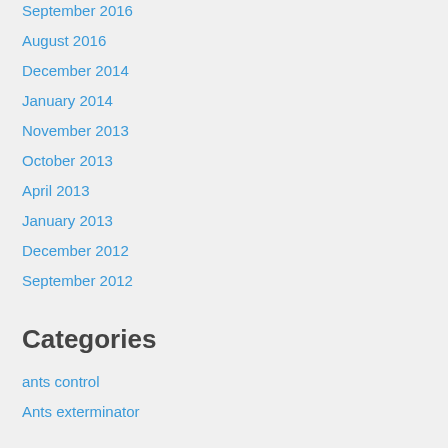September 2016
August 2016
December 2014
January 2014
November 2013
October 2013
April 2013
January 2013
December 2012
September 2012
Categories
ants control
Ants exterminator